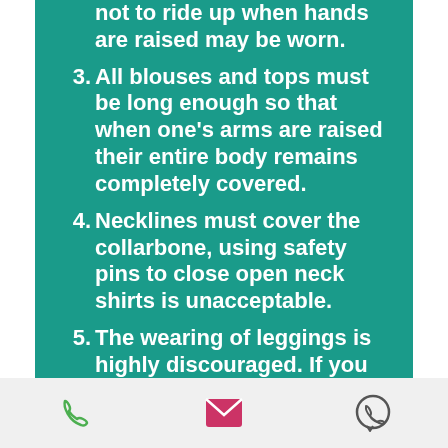(continued) not to ride up when hands are raised may be worn.
3. All blouses and tops must be long enough so that when one's arms are raised their entire body remains completely covered.
4. Necklines must cover the collarbone, using safety pins to close open neck shirts is unacceptable.
5. The wearing of leggings is highly discouraged. If you are wearing leggings only crew or higher socks may